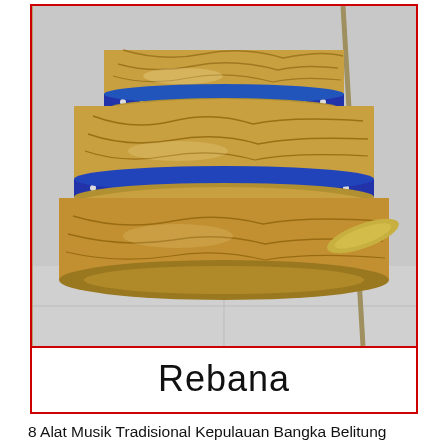[Figure (photo): Photograph of a Rebana, a traditional drum instrument with golden/brown carved wood body and blue decorative bands with silver studs, stacked layers visible]
Rebana
8 Alat Musik Tradisional Kepulauan Bangka Belitung Lengkap, Gambar dan from www.senibudayaku.com
10+ gambar alat musik bangka belitung. Inilah alat musik tradisional dambus yang merupakan alat musik tradisional asal bangka belitung. Cara memainkan dambus pun juga sama dengan gitar yakni dipetik mengikuti alunan